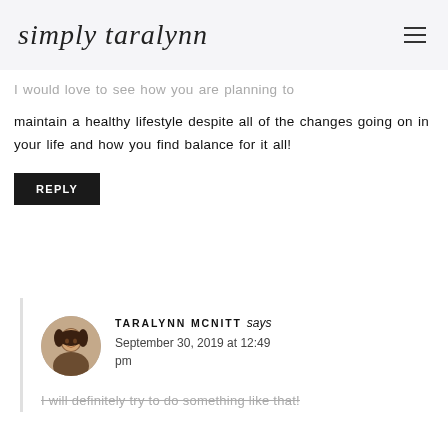simply taralynn
I would love to see how you are planning to maintain a healthy lifestyle despite all of the changes going on in your life and how you find balance for it all!
REPLY
TARALYNN MCNITT says
September 30, 2019 at 12:49 pm
I will definitely try to do something like that!